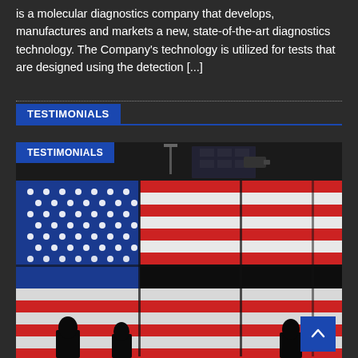is a molecular diagnostics company that develops, manufactures and markets a new, state-of-the-art diagnostics technology. The Company's technology is utilized for tests that are designed using the detection [...]
TESTIMONIALS
[Figure (photo): Large LED display showing an American flag with red, white, and blue stripes and stars, viewed from inside a dark building. A label 'TESTIMONIALS' appears in the top-left corner of the image. People silhouettes are visible in the foreground. Camera equipment visible above the display outside.]